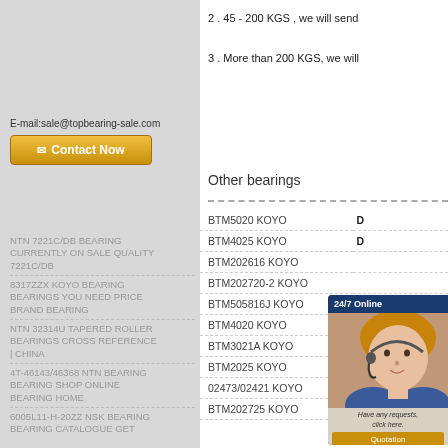2 . 45 - 200 KGS , we will send
3 . More than 200 KGS, we will
E-mail:sale@topbearing-sale.com
Contact Now
NTN 7221C/DB BEARING CURRENTLY ON SALE QUALITY 7221C/DB
8317ZZX KOYO BEARING BEARINGS YOU NEED PRICE BRAND BEARING
NTN 32314U TAPERED ROLLER BEARINGS CROSS REFERENCE | CHINA
4T-46143/46368 NTN BEARING BEARING SHOP ONLINE BEARING HOME
6005L11-H-20ZZ NSK BEARING BEARING CATALOGUE GET
Other bearings
| Model | Description |
| --- | --- |
| BTM5020 KOYO | D |
| BTM4025 KOYO | D |
| BTM202616 KOYO |  |
| BTM202720-2 KOYO |  |
| BTM505816J KOYO | Description |
| BTM4020 KOYO | Description:T |
| BTM3021A KOYO | Description: |
| BTM2025 KOYO | Description:T |
| 02473/02421 KOYO | Descriptio |
| BTM202725 KOYO | Description: |
[Figure (illustration): 24/7 Online chat widget with customer service representative photo and Quotation button]